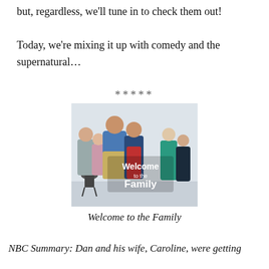but, regardless, we'll tune in to check them out!
Today, we're mixing it up with comedy and the supernatural…
*****
[Figure (photo): Promotional cast photo for the NBC show 'Welcome to the Family', showing several adults posing together outdoors with a grill, and the show title text overlaid.]
Welcome to the Family
NBC Summary: Dan and his wife, Caroline, were getting